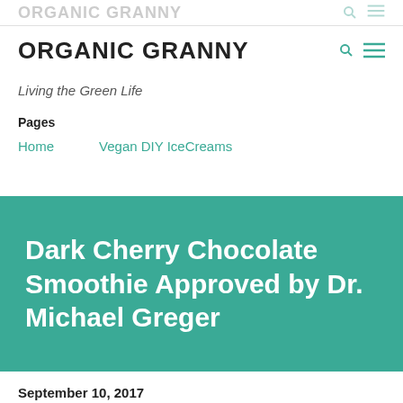ORGANIC GRANNY
ORGANIC GRANNY
Living the Green Life
Pages
Home
Vegan DIY IceCreams
Dark Cherry Chocolate Smoothie Approved by Dr. Michael Greger
September 10, 2017